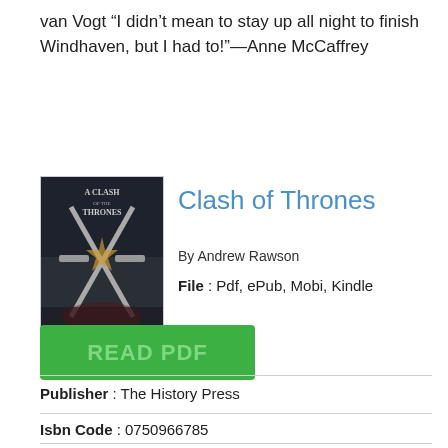van Vogt “I didn’t mean to stay up all night to finish Windhaven, but I had to!”—Anne McCaffrey
[Figure (illustration): Book cover of A Clash of Thrones showing medieval swords and warrior imagery on a dark background]
Clash of Thrones
By Andrew Rawson
File : Pdf, ePub, Mobi, Kindle
READ PDF
Publisher : The History Press
Isbn Code : 0750966785
Number of Pages : 208